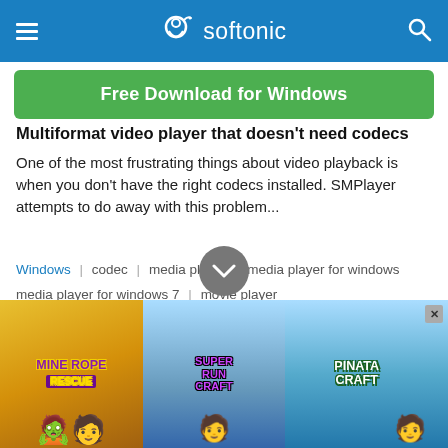softonic
Free Download for Windows
Multiformat video player that doesn't need codecs
One of the most frustrating things about video playback is when you don't have the right codecs installed. SMPlayer attempts to do away with this problem...
Windows | codec | media player | media player for windows | media player for windows 7 | movie player
Movie Maker - PRO 1.0 — 4.5 stars (7 votes)
[Figure (screenshot): Advertisement banner showing three mobile game ads: Mine Rope Rescue, Super Run Craft, and Pinata Craft]